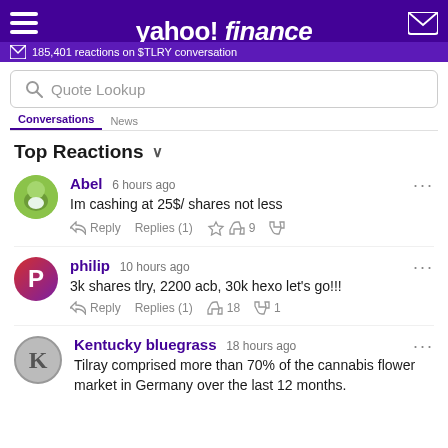yahoo! finance | 185,401 reactions on $TLRY conversation
Quote Lookup
Top Reactions
Abel 6 hours ago
Im cashing at 25$/ shares not less
Reply Replies (1) 9
philip 10 hours ago
3k shares tlry, 2200 acb, 30k hexo let's go!!!
Reply Replies (1) 18 1
Kentucky bluegrass 18 hours ago
Tilray comprised more than 70% of the cannabis flower market in Germany over the last 12 months.